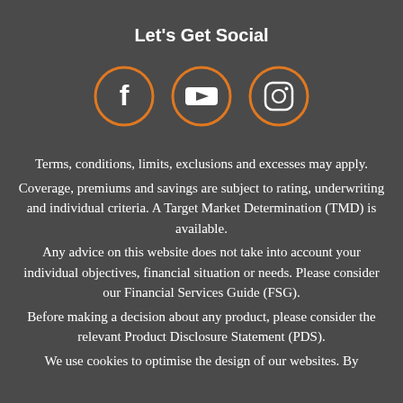Let's Get Social
[Figure (illustration): Three social media icons in orange circles: Facebook, YouTube, and Instagram]
Terms, conditions, limits, exclusions and excesses may apply.
Coverage, premiums and savings are subject to rating, underwriting and individual criteria. A Target Market Determination (TMD) is available.
Any advice on this website does not take into account your individual objectives, financial situation or needs. Please consider our Financial Services Guide (FSG).
Before making a decision about any product, please consider the relevant Product Disclosure Statement (PDS).
We use cookies to optimise the design of our websites. By